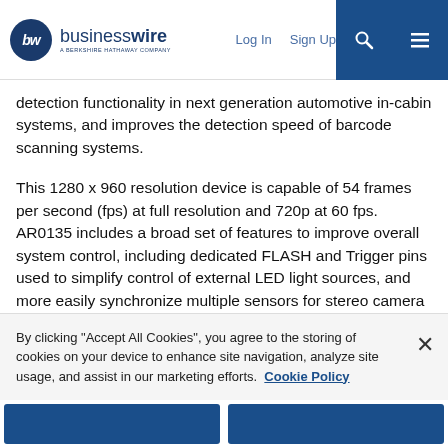businesswire — A BERKSHIRE HATHAWAY COMPANY | Log In | Sign Up
detection functionality in next generation automotive in-cabin systems, and improves the detection speed of barcode scanning systems.
This 1280 x 960 resolution device is capable of 54 frames per second (fps) at full resolution and 720p at 60 fps. AR0135 includes a broad set of features to improve overall system control, including dedicated FLASH and Trigger pins used to simplify control of external LED light sources, and more easily synchronize multiple sensors for stereo camera applications. The on-chip temperature sensor and statistics engine further enhance the diagnostic and control capability of the camera system. The AR0135 also provides the flexibility of both parallel and serial (via a four lane HiSPi…
By clicking “Accept All Cookies”, you agree to the storing of cookies on your device to enhance site navigation, analyze site usage, and assist in our marketing efforts.  Cookie Policy